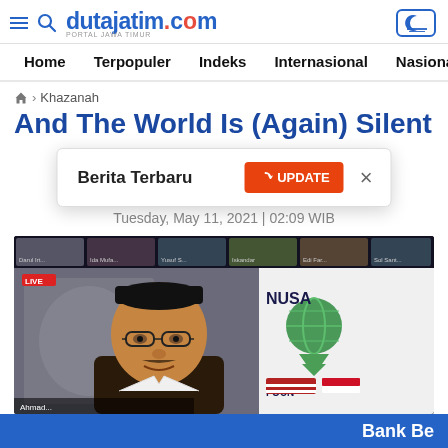dutajatim.com — Home | Terpopuler | Indeks | Internasional | Nasional
🏠 › Khazanah
And The World Is (Again) Silent
Berita Terbaru  UPDATE  ✕
Tuesday, May 11, 2021 | 02:09 WIB
[Figure (photo): Screenshot of a video conference call showing a man in a black peci (Indonesian cap) and glasses speaking, with a decorative background including a calligraphy panel and a Nusantara Foundation logo/banner visible to his right. Multiple participant thumbnails are visible at the top of the screen. A LIVE badge is visible at the bottom left of the video frame.]
Bank Be